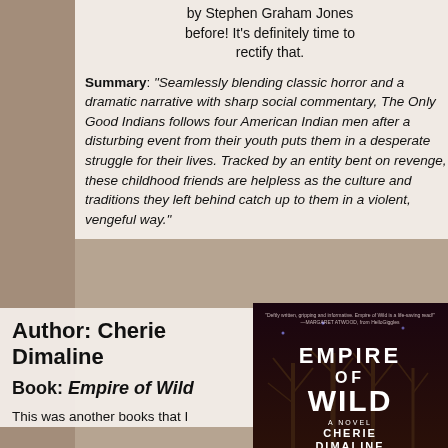by Stephen Graham Jones before! It's definitely time to rectify that.
Summary: "Seamlessly blending classic horror and a dramatic narrative with sharp social commentary, The Only Good Indians follows four American Indian men after a disturbing event from their youth puts them in a desperate struggle for their lives. Tracked by an entity bent on revenge, these childhood friends are helpless as the culture and traditions they left behind catch up to them in a violent, vengeful way."
Author: Cherie Dimaline
Book: Empire of Wild
[Figure (illustration): Book cover of 'Empire of Wild' by Cherie Dimaline showing white text on a dark background with bare tree branches]
This was another books that I